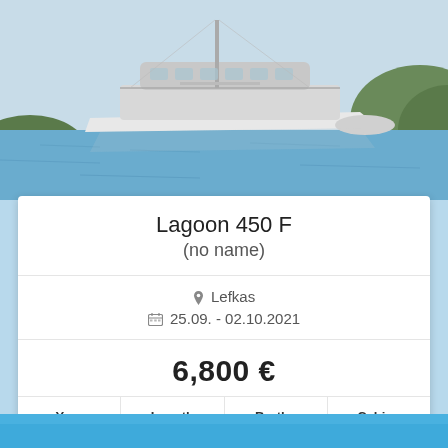[Figure (photo): White catamaran yacht moored in a blue bay with rocky green-forested shoreline in the background]
Lagoon 450 F
(no name)
Lefkas
25.09. - 02.10.2021
6,800 €
| Year | Length | Berths | Cabins |
| --- | --- | --- | --- |
| 2019 | 13.96 | 12 | 6 (4+2) |
Book Now